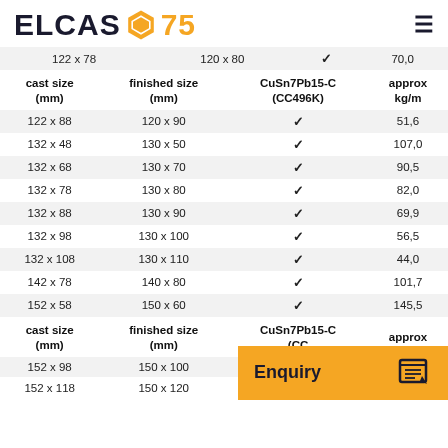ELCAS 75
| cast size (mm) | finished size (mm) | CuSn7Pb15-C (CC496K) | approx kg/m |
| --- | --- | --- | --- |
| 122 x 78 | 120 x 80 | ✓ | 70,0 |
| 122 x 88 | 120 x 90 | ✓ | 51,6 |
| 132 x 48 | 130 x 50 | ✓ | 107,0 |
| 132 x 68 | 130 x 70 | ✓ | 90,5 |
| 132 x 78 | 130 x 80 | ✓ | 82,0 |
| 132 x 88 | 130 x 90 | ✓ | 69,9 |
| 132 x 98 | 130 x 100 | ✓ | 56,5 |
| 132 x 108 | 130 x 110 | ✓ | 44,0 |
| 142 x 78 | 140 x 80 | ✓ | 101,7 |
| 152 x 58 | 150 x 60 | ✓ | 145,5 |
| cast size (mm) | finished size (mm) | CuSn7Pb15-C (CC...) | approx |
| --- | --- | --- | --- |
| 152 x 98 | 150 x 100 |  |  |
| 152 x 118 | 150 x 120 | ✓ | 80,5 |